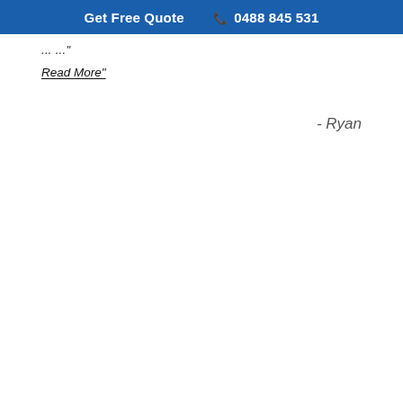Get Free Quote  ☎ 0488 845 531
...
Read More"
- Ryan